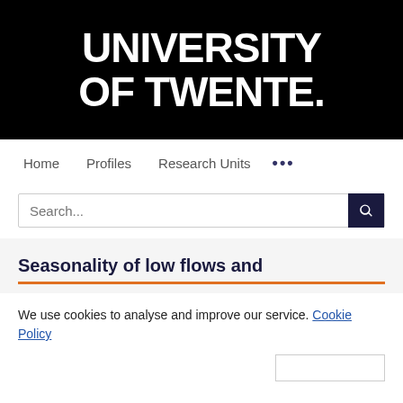[Figure (logo): University of Twente logo — white bold text on black background reading 'UNIVERSITY OF TWENTE.']
Home   Profiles   Research Units   ...
Search...
Seasonality of low flows and
We use cookies to analyse and improve our service. Cookie Policy